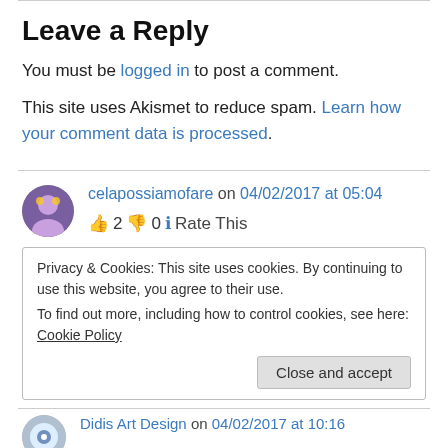Leave a Reply
You must be logged in to post a comment.
This site uses Akismet to reduce spam. Learn how your comment data is processed.
celapossiamofare on 04/02/2017 at 05:04
👍 2 👎 0 ℹ️ Rate This
Privacy & Cookies: This site uses cookies. By continuing to use this website, you agree to their use.
To find out more, including how to control cookies, see here: Cookie Policy
Close and accept
Didis Art Design on 04/02/2017 at 10:16